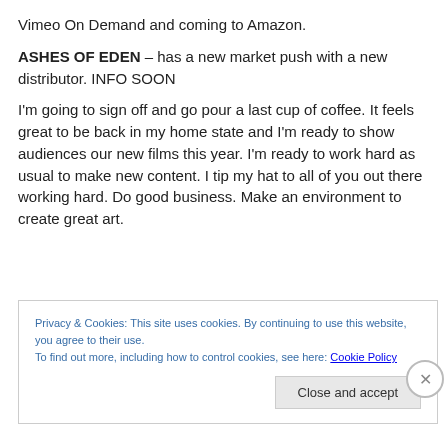Vimeo On Demand and coming to Amazon.
ASHES OF EDEN – has a new market push with a new distributor. INFO SOON
I'm going to sign off and go pour a last cup of coffee. It feels great to be back in my home state and I'm ready to show audiences our new films this year. I'm ready to work hard as usual to make new content. I tip my hat to all of you out there working hard. Do good business. Make an environment to create great art.
Privacy & Cookies: This site uses cookies. By continuing to use this website, you agree to their use.
To find out more, including how to control cookies, see here: Cookie Policy
Close and accept